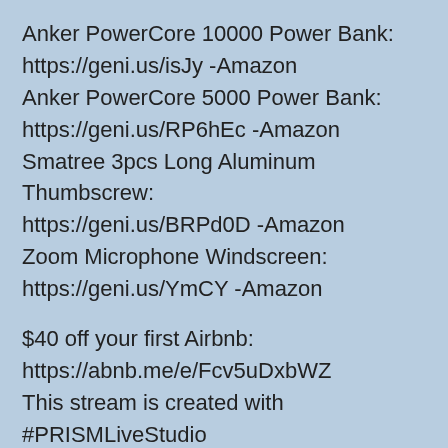Anker PowerCore 10000 Power Bank: https://geni.us/isJy -Amazon
Anker PowerCore 5000 Power Bank: https://geni.us/RP6hEc -Amazon
Smatree 3pcs Long Aluminum Thumbscrew: https://geni.us/BRPd0D -Amazon
Zoom Microphone Windscreen: https://geni.us/YmCY -Amazon
$40 off your first Airbnb: https://abnb.me/e/Fcv5uDxbWZ
This stream is created with #PRISMLiveStudio
source